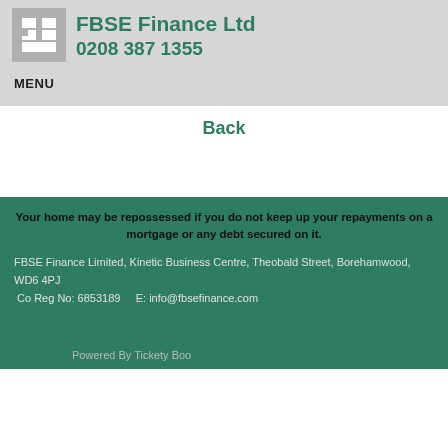FBSE Finance Ltd 0208 387 1355
MENU
Back
Your home may be repossessed if you do not keep up your repayments on a mortgage or any debt secured on it.
FBSE Finance Limited, Kinetic Business Centre, Theobald Street, Borehamwood, WD6 4PJ
 Co Reg No: 6853189    E: info@fbsefinance.com
Powered By Tickety Boo